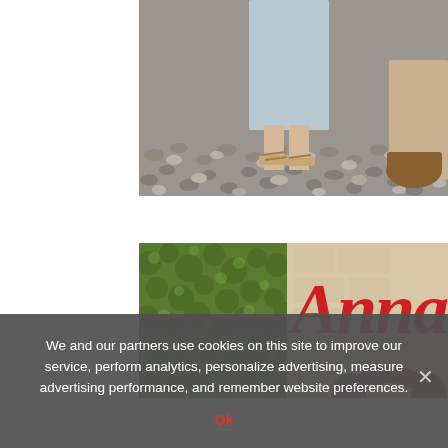[Figure (photo): Close-up photo of two people's feet and lower legs on a pebbled stone ground. One person wears a light blue/gray long skirt with strappy sandals; another person to the right wears a brown boot or sandal. The ground consists of decorative pebble mosaic stones in gray and white.]
[Figure (photo): Photo of what appears to be a movie premiere or event. The left half shows a green carpet/hedge background. The right half shows a beige/stone-textured backdrop with large red serif text reading 'Annab' (partially cropped). A person with reddish-brown hair is visible at the bottom right.]
We and our partners use cookies on this site to improve our service, perform analytics, personalize advertising, measure advertising performance, and remember website preferences.
Ok